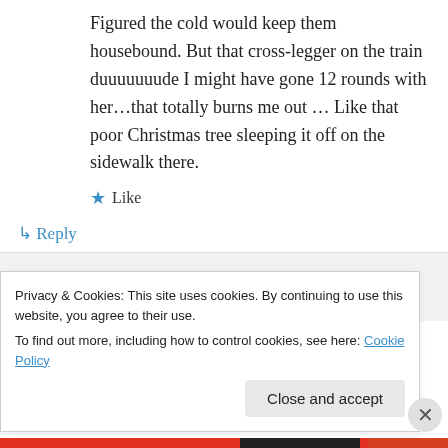Figured the cold would keep them housebound. But that cross-legger on the train duuuuuuude I might have gone 12 rounds with her…that totally burns me out … Like that poor Christmas tree sleeping it off on the sidewalk there.
★ Like
↳ Reply
lameadventures on January 5, 2015 at 10:19
Privacy & Cookies: This site uses cookies. By continuing to use this website, you agree to their use.
To find out more, including how to control cookies, see here: Cookie Policy
Close and accept